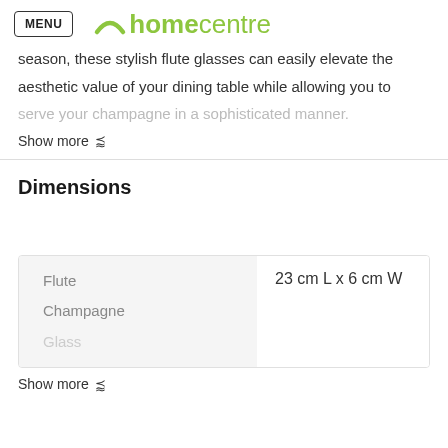MENU homecentre
season, these stylish flute glasses can easily elevate the aesthetic value of your dining table while allowing you to serve your champagne in a sophisticated manner.
Show more
Dimensions
|  |  |
| --- | --- |
| Flute Champagne Glass | 23 cm L x 6 cm W |
Show more